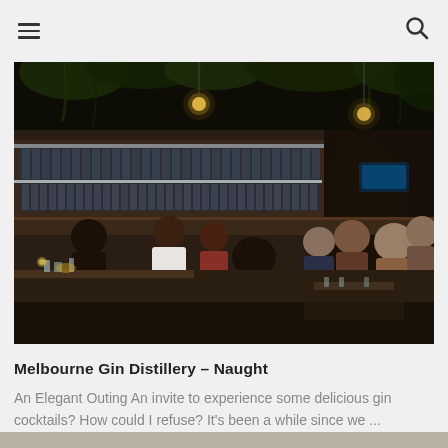Navigation header with hamburger menu and search icon
[Figure (photo): Interior of Melbourne Gin Distillery bar with patrons seated at tables, shelves of gin bottles illuminated behind the bar, hanging green foliage overhead, warm Edison bulb lighting creating a moody ambience.]
Melbourne Gin Distillery – Naught
An Elegant Outing An invite to experience some delicious gin cocktails? How could I refuse? It's been a while since we ...
[Figure (photo): Partial bottom strip of another photograph visible at the bottom of the page.]